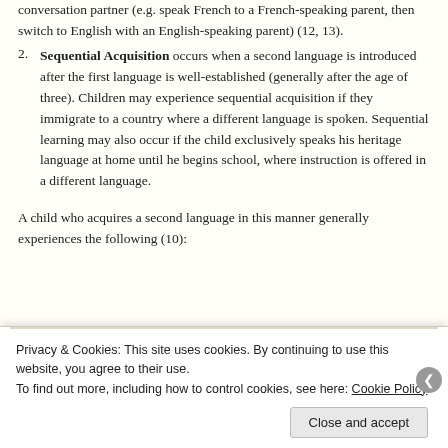conversation partner (e.g. speak French to a French-speaking parent, then switch to English with an English-speaking parent) (12, 13).
2. Sequential Acquisition occurs when a second language is introduced after the first language is well-established (generally after the age of three). Children may experience sequential acquisition if they immigrate to a country where a different language is spoken. Sequential learning may also occur if the child exclusively speaks his heritage language at home until he begins school, where instruction is offered in a different language.
A child who acquires a second language in this manner generally experiences the following (10):
Privacy & Cookies: This site uses cookies. By continuing to use this website, you agree to their use. To find out more, including how to control cookies, see here: Cookie Policy
Close and accept